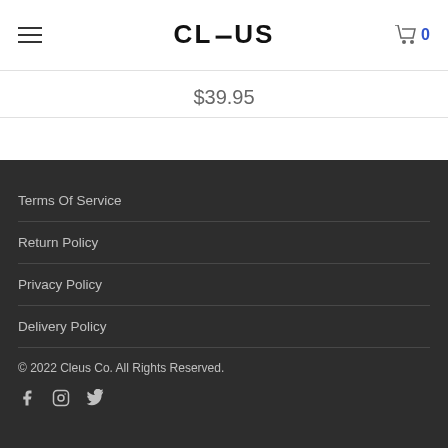CLEUS — navigation header with cart showing 0
$39.95
Terms Of Service
Return Policy
Privacy Policy
Delivery Policy
© 2022 Cleus Co. All Rights Reserved.
Social icons: Facebook, Instagram, Twitter